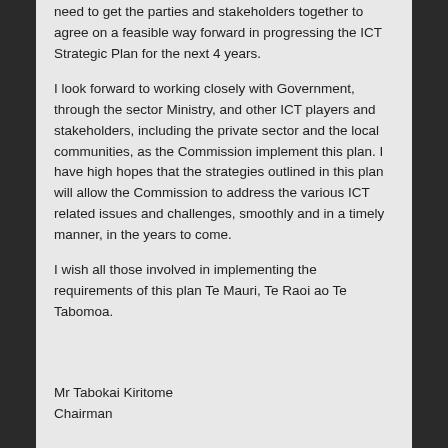need to get the parties and stakeholders together to agree on a feasible way forward in progressing the ICT Strategic Plan for the next 4 years.
I look forward to working closely with Government, through the sector Ministry, and other ICT players and stakeholders, including the private sector and the local communities, as the Commission implement this plan. I have high hopes that the strategies outlined in this plan will allow the Commission to address the various ICT related issues and challenges, smoothly and in a timely manner, in the years to come.
I wish all those involved in implementing the requirements of this plan Te Mauri, Te Raoi ao Te Tabomoa.
Mr Tabokai Kiritome
Chairman